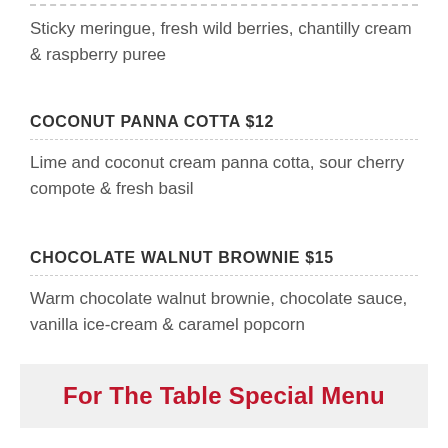Sticky meringue, fresh wild berries, chantilly cream & raspberry puree
COCONUT PANNA COTTA $12
Lime and coconut cream panna cotta, sour cherry compote & fresh basil
CHOCOLATE WALNUT BROWNIE $15
Warm chocolate walnut brownie, chocolate sauce, vanilla ice-cream & caramel popcorn
For The Table Special Menu